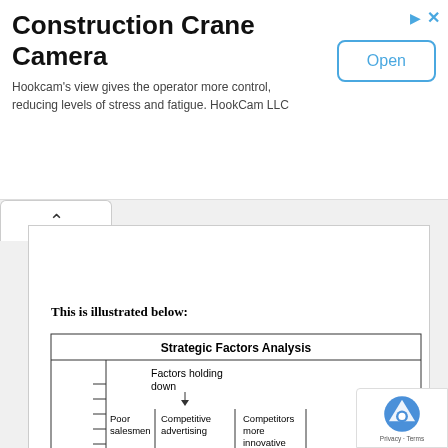Construction Crane Camera
Hookcam's view gives the operator more control, reducing levels of stress and fatigue. HookCam LLC
This is illustrated below:
[Figure (other): Strategic Factors Analysis diagram showing factors holding down on a vertical scale, with labels: Poor salesmen, Competitive advertising, Competitors more innovative, Product quality, Tight credit, and a (-) label on the left axis scale.]